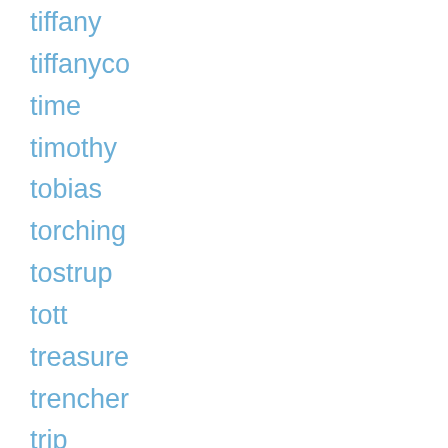tiffany
tiffanyco
time
timothy
tobias
torching
tostrup
tott
treasure
trencher
trip
tuck
tumbleweed
turning
turtles
tuttle
twelve